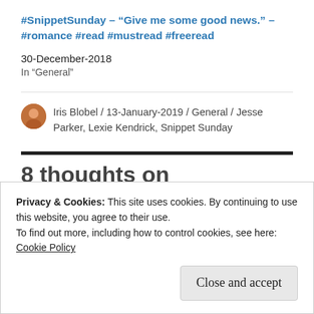#SnippetSunday – "Give me some good news." – #romance #read #mustread #freeread
30-December-2018
In "General"
Iris Blobel / 13-January-2019 / General / Jesse Parker, Lexie Kendrick, Snippet Sunday
8 thoughts on
Privacy & Cookies: This site uses cookies. By continuing to use this website, you agree to their use.
To find out more, including how to control cookies, see here: Cookie Policy